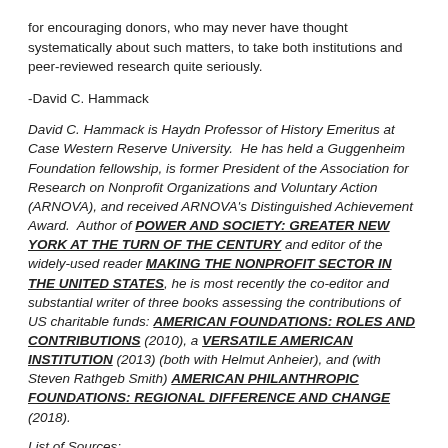for encouraging donors, who may never have thought systematically about such matters, to take both institutions and peer-reviewed research quite seriously.
-David C. Hammack
David C. Hammack is Haydn Professor of History Emeritus at Case Western Reserve University.  He has held a Guggenheim Foundation fellowship, is former President of the Association for Research on Nonprofit Organizations and Voluntary Action (ARNOVA), and received ARNOVA's Distinguished Achievement Award.  Author of POWER AND SOCIETY: GREATER NEW YORK AT THE TURN OF THE CENTURY and editor of the widely-used reader MAKING THE NONPROFIT SECTOR IN THE UNITED STATES, he is most recently the co-editor and substantial writer of three books assessing the contributions of US charitable funds: AMERICAN FOUNDATIONS: ROLES AND CONTRIBUTIONS (2010), a VERSATILE AMERICAN INSTITUTION (2013) (both with Helmut Anheier), and (with Steven Rathgeb Smith) AMERICAN PHILANTHROPIC FOUNDATIONS: REGIONAL DIFFERENCE AND CHANGE (2018).
List of Sources: